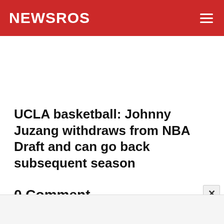NEWSROS
UCLA basketball: Johnny Juzang withdraws from NBA Draft and can go back subsequent season
0 Comment